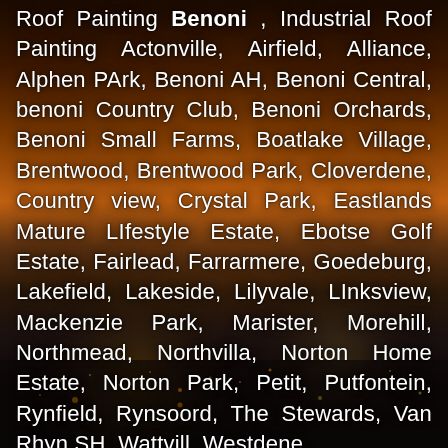Roof Painting Benoni , Industrial Roof Painting Actonville, Airfield, Alliance, Alphen PArk, Benoni AH, Benoni Central, benoni Country Club, Benoni Orchards, Benoni Small Farms, Boatlake Village, Brentwood, Brentwood Park, Cloverdene, Country view, Crystal Park, Eastlands Mature LIfestyle Estate, Ebotse Golf Estate, Fairlead, Farrarmere, Goedeburg, Lakefield, Lakeside, Lilyvale, LInksview, Mackenzie Park, Marister, Morehill, Northmead, Northvilla, Norton Home Estate, Norton Park, Petit, Putfontein, Rynfield, Rynsoord, The Stewards, Van Rhyn SH, Wattvill, Westdene.